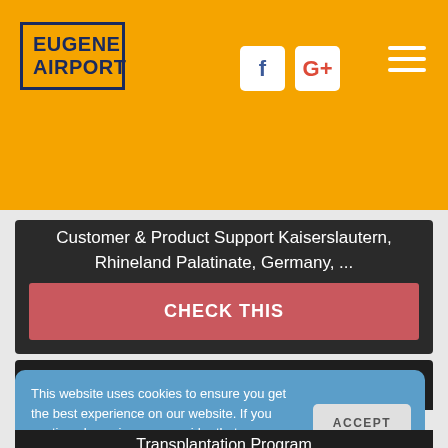[Figure (logo): Eugene Airport logo: dark blue bold text 'EUGENE AIRPORT' inside a dark blue bordered box, on orange background]
[Figure (infographic): Facebook and Google+ social media icon buttons (white rounded squares with F and G+ in brand colors), and a hamburger menu icon (three white horizontal bars) on orange background]
Customer & Product Support Kaiserslautern, Rhineland Palatinate, Germany, ...
CHECK THIS
William A. Wood - UNC Lineberger
This website uses cookies to ensure you get the best experience on our website. If you continue browsing, we consider that you accept their use. More Info
ACCEPT
Transplantation Program